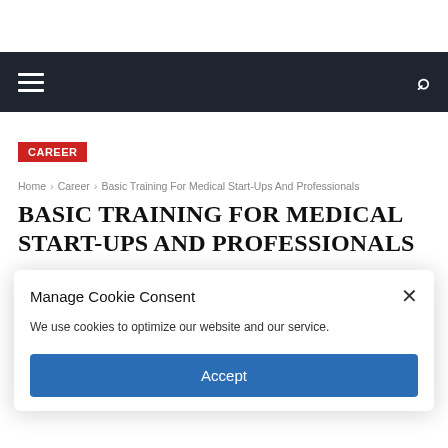Navigation bar with hamburger menu and search icon
CAREER
Home › Career › Basic Training For Medical Start-Ups And Professionals
BASIC TRAINING FOR MEDICAL START-UPS AND PROFESSIONALS
Manage Cookie Consent
We use cookies to optimize our website and our service.
Accept